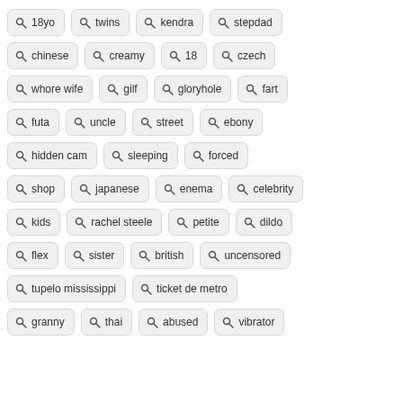18yo
twins
kendra
stepdad
chinese
creamy
18
czech
whore wife
gilf
gloryhole
fart
futa
uncle
street
ebony
hidden cam
sleeping
forced
shop
japanese
enema
celebrity
kids
rachel steele
petite
dildo
flex
sister
british
uncensored
tupelo mississippi
ticket de metro
granny
thai
abused
vibrator